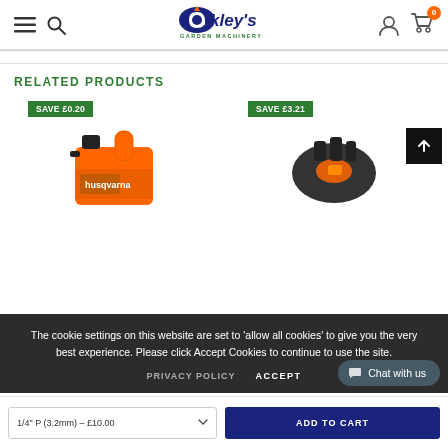Oakley's Garden Machinery
RELATED PRODUCTS
[Figure (photo): Orange fuel can / oil container product with black cap]
[Figure (photo): Black and orange garden machinery accessory (head/guard component)]
The cookie settings on this website are set to 'allow all cookies' to give you the very best experience. Please click Accept Cookies to continue to use the site.
PRIVACY POLICY   ACCEPT
Chat with us
1/4" P (3.2mm) – £10.00
ADD TO CART